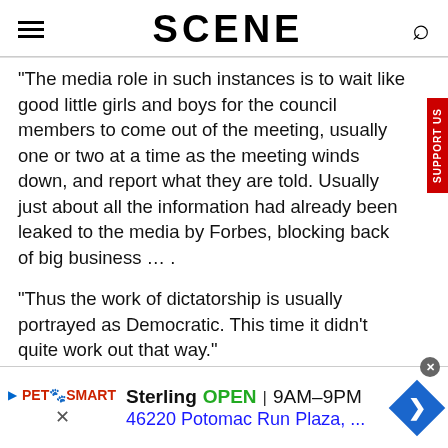SCENE
"The media role in such instances is to wait like good little girls and boys for the council members to come out of the meeting, usually one or two at a time as the meeting winds down, and report what they are told. Usually just about all the information had already been leaked to the media by Forbes, blocking back of big business … .
"Thus the work of dictatorship is usually portrayed as Democratic. This time it didn't quite work out that way."
As the demagogue atop city council, Forbes was long one of
[Figure (infographic): PetSmart advertisement banner: Sterling OPEN 9AM-9PM, 46220 Potomac Run Plaza, with navigation diamond icon]